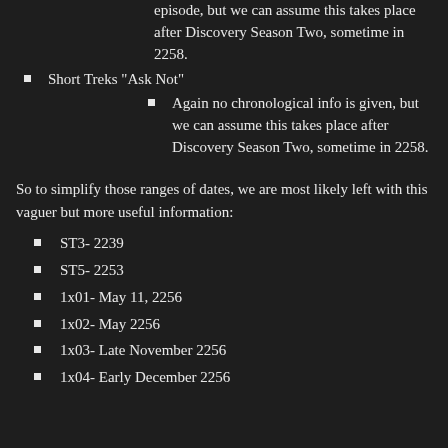episode, but we can assume this takes place after Discovery Season Two, sometime in 2258.
Short Treks "Ask Not"
Again no chronological info is given, but we can assume this takes place after Discovery Season Two, sometime in 2258.
So to simplify those ranges of dates, we are most likely left with this vaguer but more useful information:
ST3- 2239
ST5- 2253
1x01- May 11, 2256
1x02- May 2256
1x03- Late November 2256
1x04- Early December 2256